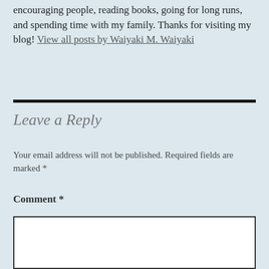encouraging people, reading books, going for long runs, and spending time with my family. Thanks for visiting my blog! View all posts by Waiyaki M. Waiyaki
Leave a Reply
Your email address will not be published. Required fields are marked *
Comment *